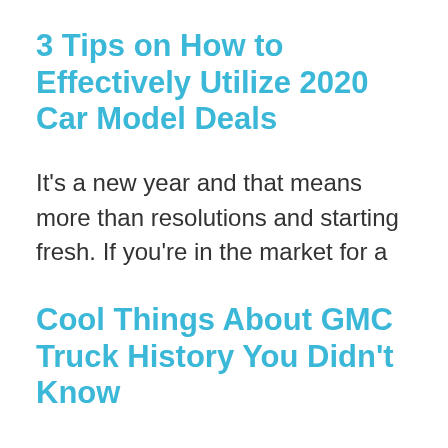3 Tips on How to Effectively Utilize 2020 Car Model Deals
It’s a new year and that means more than resolutions and starting fresh. If you’re in the market for a
Cool Things About GMC Truck History You Didn’t Know